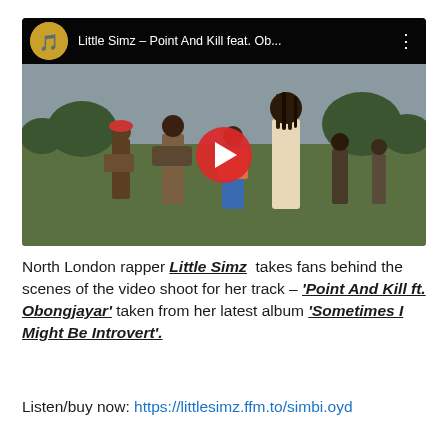[Figure (screenshot): YouTube video embed showing Little Simz – Point And Kill feat. Ob... with a play button overlay. The thumbnail shows people in an outdoor field setting. The video top bar shows the YouTube channel avatar and title.]
North London rapper Little Simz takes fans behind the scenes of the video shoot for her track – 'Point And Kill ft. Obongjayar' taken from her latest album 'Sometimes I Might Be Introvert'.
Listen/buy now: https://littlesimz.ffm.to/simbi.oyd